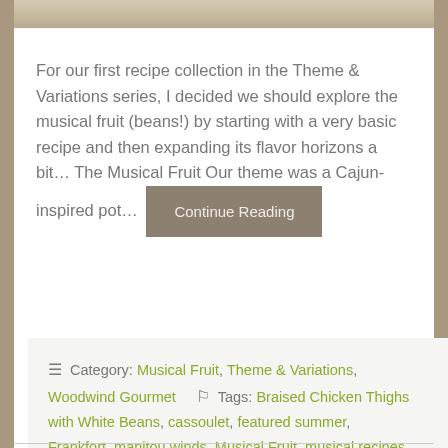[Figure (photo): Partial food photo at top of page, cropped]
For our first recipe collection in the Theme & Variations series, I decided we should explore the musical fruit (beans!) by starting with a very basic recipe and then expanding its flavor horizons a bit… The Musical Fruit Our theme was a Cajun-inspired pot… Continue Reading
≡ Category: Musical Fruit, Theme & Variations, Woodwind Gourmet  🏷 Tags: Braised Chicken Thighs with White Beans, cassoulet, featured summer, Frankfort, manitou winds, Musical Fruit, musical recipes, recipes, Slow Cooker, Variety: It's the Spice, woodwind gourmet